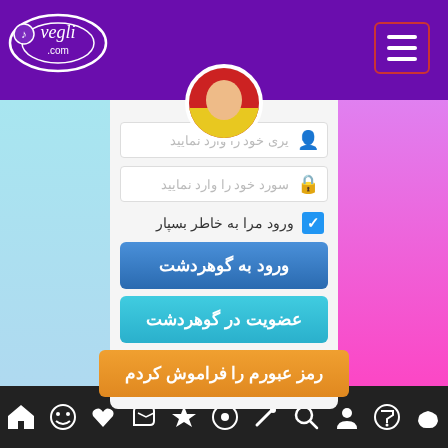[Figure (screenshot): Login page for Gohardasht website (vegli.com) showing a purple header with logo and hamburger menu, input fields for username and password in Persian/Farsi, a remember me checkbox, three buttons: login, register, and forgot password, all in Persian text, with colorful background and bottom navigation bar with icons]
یری خود را وارد نمایید
سورد خود را وارد نمایید
ورود مرا به خاطر بسپار
ورود به گوهردشت
عضویت در گوهردشت
رمز عبورم را فراموش کردم